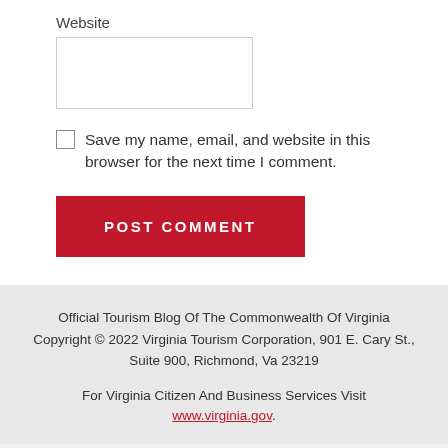Website
[Figure (other): Empty website text input box]
Save my name, email, and website in this browser for the next time I comment.
POST COMMENT
Official Tourism Blog Of The Commonwealth Of Virginia Copyright © 2022 Virginia Tourism Corporation, 901 E. Cary St., Suite 900, Richmond, Va 23219

For Virginia Citizen And Business Services Visit www.virginia.gov.